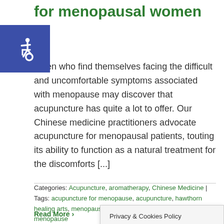for menopausal women
[Figure (other): Accessibility icon — white wheelchair symbol on dark blue square background]
omen who find themselves facing the difficult and uncomfortable symptoms associated with menopause may discover that acupuncture has quite a lot to offer. Our Chinese medicine practitioners advocate acupuncture for menopausal patients, touting its ability to function as a natural treatment for the discomforts [...]
Categories: Acupuncture, aromatherapy, Chinese Medicine | Tags: acupuncture for menopause, acupuncture, hawthorn healing arts, menopause relief, natural medicine for menopause
Read More >
Privacy & Cookies Policy